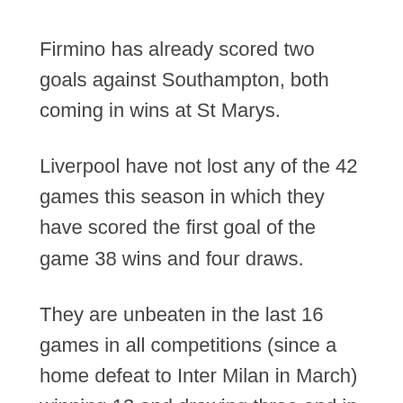Firmino has already scored two goals against Southampton, both coming in wins at St Marys.
Liverpool have not lost any of the 42 games this season in which they have scored the first goal of the game 38 wins and four draws.
They are unbeaten in the last 16 games in all competitions (since a home defeat to Inter Milan in March) winning 13 and drawing three and in 17 in the league since defeat at Leicester on December 28.